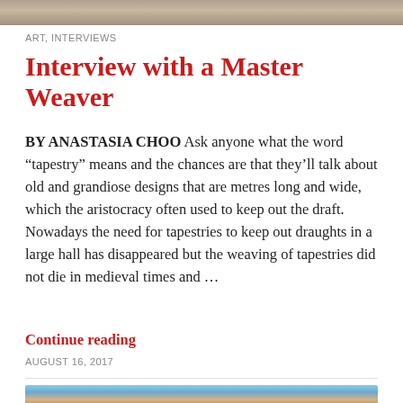[Figure (photo): Top portion of an image, appears to be a textured or natural scene, cropped at top of page]
ART, INTERVIEWS
Interview with a Master Weaver
BY ANASTASIA CHOO Ask anyone what the word “tapestry” means and the chances are that they’ll talk about old and grandiose designs that are metres long and wide, which the aristocracy often used to keep out the draft. Nowadays the need for tapestries to keep out draughts in a large hall has disappeared but the weaving of tapestries did not die in medieval times and …
Continue reading
AUGUST 16, 2017
[Figure (photo): A lion walking in what appears to be a cage or enclosure with chain-link fencing and a blue sky in the background]